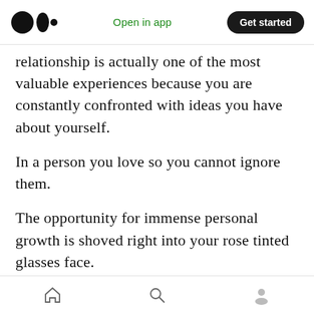Medium app header — Open in app | Get started
relationship is actually one of the most valuable experiences because you are constantly confronted with ideas you have about yourself.
In a person you love so you cannot ignore them.
The opportunity for immense personal growth is shoved right into your rose tinted glasses face.
The choice to believe only the good things in you.
The perfection and worthiness that is you.
Which does not need anybody else.
Home | Search | Profile